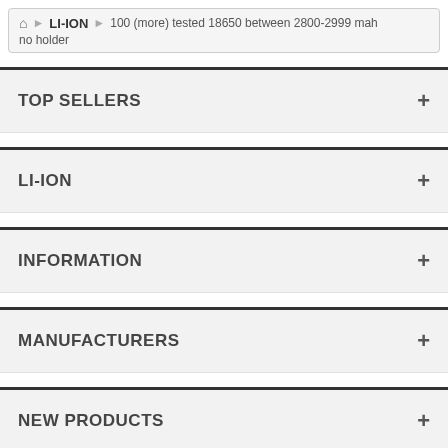🏠 > LI-ION > 100 (more) tested 18650 between 2800-2999 mah no holder
TOP SELLERS
LI-ION
INFORMATION
MANUFACTURERS
NEW PRODUCTS